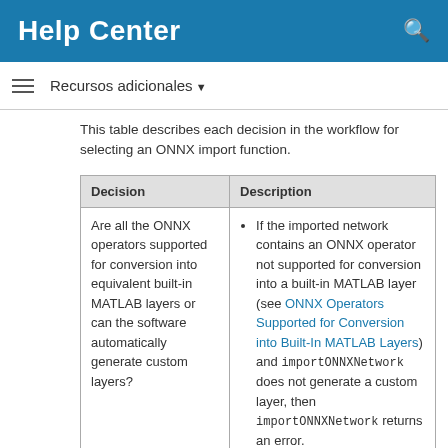Help Center
Recursos adicionales
This table describes each decision in the workflow for selecting an ONNX import function.
| Decision | Description |
| --- | --- |
| Are all the ONNX operators supported for conversion into equivalent built-in MATLAB layers or can the software automatically generate custom layers? | • If the imported network contains an ONNX operator not supported for conversion into a built-in MATLAB layer (see ONNX Operators Supported for Conversion into Built-In MATLAB Layers) and importONNXNetwork does not generate a custom layer, then importONNXNetwork returns an error.
• If the imported network contains an ONNX operator not supported for |